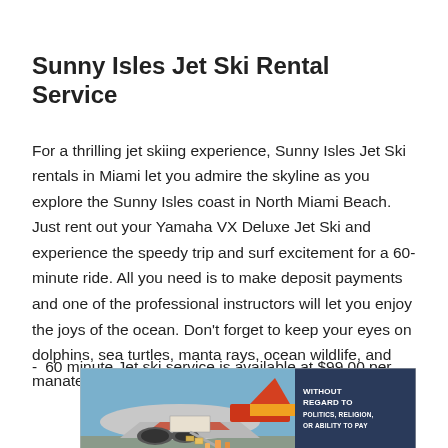Sunny Isles Jet Ski Rental Service
For a thrilling jet skiing experience, Sunny Isles Jet Ski rentals in Miami let you admire the skyline as you explore the Sunny Isles coast in North Miami Beach. Just rent out your Yamaha VX Deluxe Jet Ski and experience the speedy trip and surf excitement for a 60-minute ride. All you need is to make deposit payments and one of the professional instructors will let you enjoy the joys of the ocean. Don't forget to keep your eyes on dolphins, sea turtles, manta rays, ocean wildlife, and manatees.
60 minute Jet ski service is available at $99.00 per
[Figure (photo): Advertisement banner showing an airplane being loaded with cargo, with text overlay reading 'WITHOUT REGARD TO POLITICS, RELIGION, OR ABILITY TO PAY' on a dark blue background.]